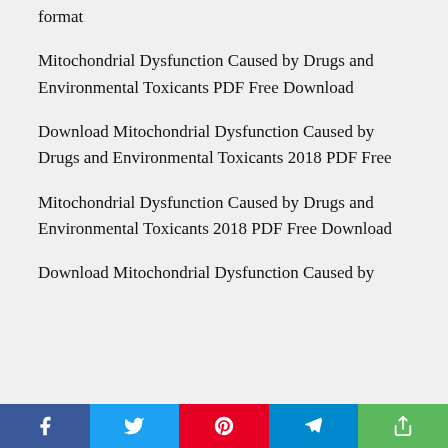format
Mitochondrial Dysfunction Caused by Drugs and Environmental Toxicants PDF Free Download
Download Mitochondrial Dysfunction Caused by Drugs and Environmental Toxicants 2018 PDF Free
Mitochondrial Dysfunction Caused by Drugs and Environmental Toxicants 2018 PDF Free Download
Download Mitochondrial Dysfunction Caused by